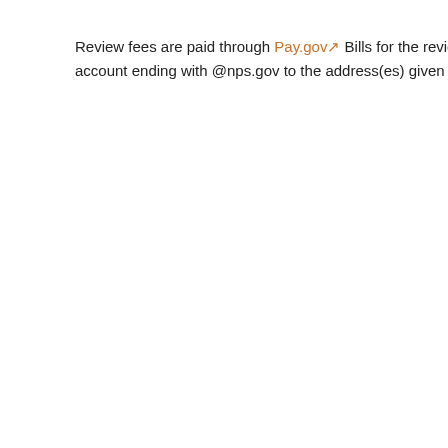Review fees are paid through Pay.gov Bills for the review fees are generally sent by email from an account ending with @nps.gov to the address(es) given on the application form.
[Figure (photo): Photograph of a historic building with arched windows, partially visible in upper right corner.]
Fees are charged according to the schedules listed below. The bills sent for payment are...
Fee Schedu...
For projects for...
Project Cost
$5,000—$79...
$80,000—$3...
$3,850,000 a...
Fee Schedu...
For projects for...
Project Cost